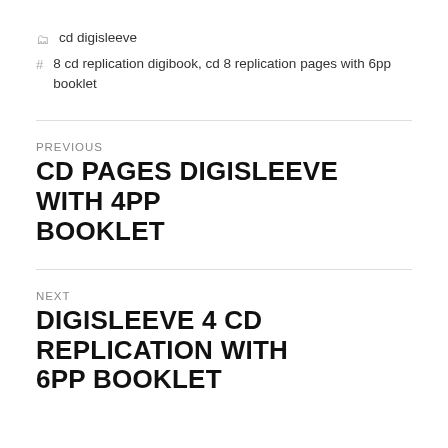cd digisleeve
8 cd replication digibook, cd 8 replication pages with 6pp booklet
PREVIOUS
CD PAGES DIGISLEEVE WITH 4PP BOOKLET
NEXT
DIGISLEEVE 4 CD REPLICATION WITH 6PP BOOKLET